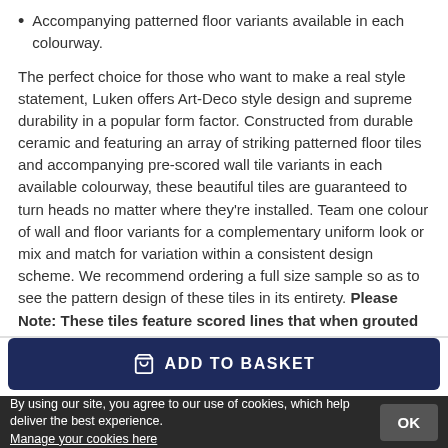Accompanying patterned floor variants available in each colourway.
The perfect choice for those who want to make a real style statement, Luken offers Art-Deco style design and supreme durability in a popular form factor. Constructed from durable ceramic and featuring an array of striking patterned floor tiles and accompanying pre-scored wall tile variants in each available colourway, these beautiful tiles are guaranteed to turn heads no matter where they're installed. Team one colour of wall and floor variants for a complementary uniform look or mix and match for variation within a consistent design scheme. We recommend ordering a full size sample so as to see the pattern design of these tiles in its entirety. Please Note: These tiles feature scored lines that when grouted give the appearance six smaller tiles per tile.
ADD TO BASKET
By using our site, you agree to our use of cookies, which help deliver the best experience. Manage your cookies here